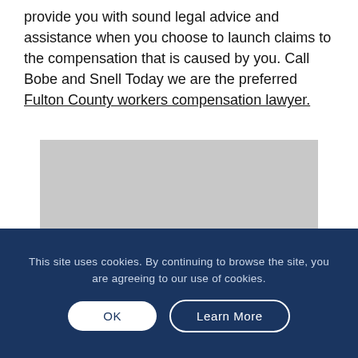provide you with sound legal advice and assistance when you choose to launch claims to the compensation that is caused by you. Call Bobe and Snell Today we are the preferred Fulton County workers compensation lawyer.
[Figure (photo): Gray placeholder image representing a photo on the legal website page]
This site uses cookies. By continuing to browse the site, you are agreeing to our use of cookies.